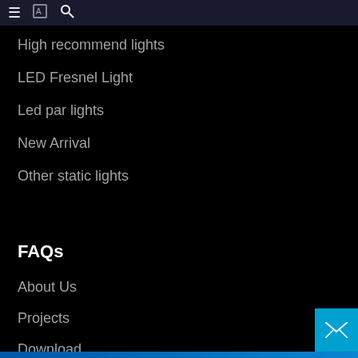≡ [icon] 🔍
High recommend lights
LED Fresnel Light
Led par lights
New Arrival
Other static lights
FAQs
About Us
Projects
Download
Video